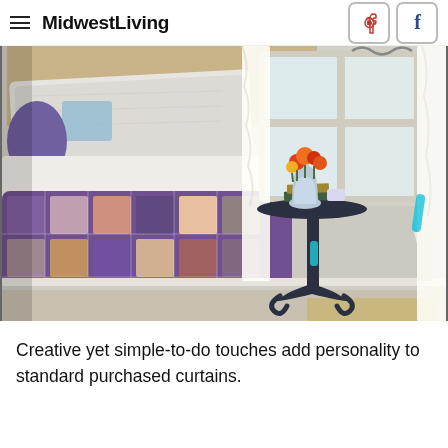MidwestLiving
[Figure (photo): Bedroom scene with a colorful patchwork quilt on a bed, a dark side table with a blue vase of orange flowers and books, a window with sheer curtains tied with a turquoise ribbon, and a tan headboard.]
Creative yet simple-to-do touches add personality to standard purchased curtains.